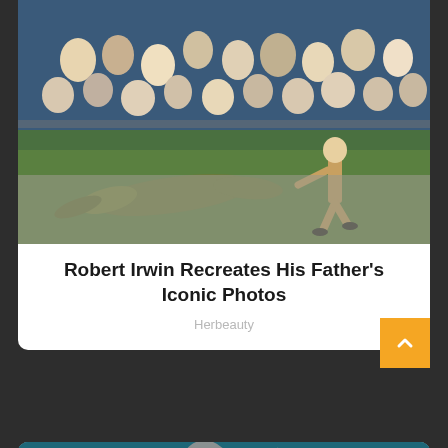[Figure (photo): Person running near a crocodile on the ground with crowd of spectators in background]
Robert Irwin Recreates His Father's Iconic Photos
Herbeauty
[Figure (photo): Great white shark leaping out of ocean water with mouth open wide]
6 Reasons Sharks Are Afraid Of Dolphins